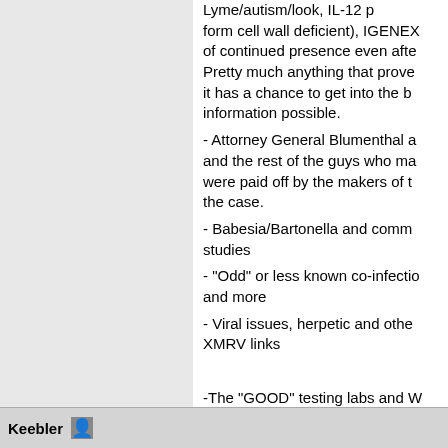Lyme/autism/look, IL-12 p form cell wall deficient), IGENEX of continued presence even after Pretty much anything that prove it has a chance to get into the b information possible. - Attorney General Blumenthal a and the rest of the guys who ma were paid off by the makers of t the case. - Babesia/Bartonella and comm studies - "Odd" or less known co-infectio and more - Viral issues, herpetic and othe XMRV links -The "GOOD" testing labs and W instance, that he just uses Labo comprehensive labs, their tests, for some things I have pages and pages of book thought someone here might ha save me from carrying in tomes Just think about anything you'd to why the guidelines he follows
Posts: 685 | From East coast, USA | Reg
Keebler